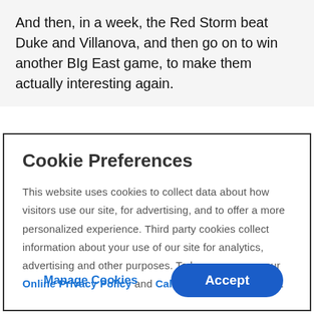And then, in a week, the Red Storm beat Duke and Villanova, and then go on to win another BIg East game, to make them actually interesting again.
Cookie Preferences
This website uses cookies to collect data about how visitors use our site, for advertising, and to offer a more personalized experience. Third party cookies collect information about your use of our site for analytics, advertising and other purposes. To learn more see our Online Privacy Policy and California Privacy Policy.